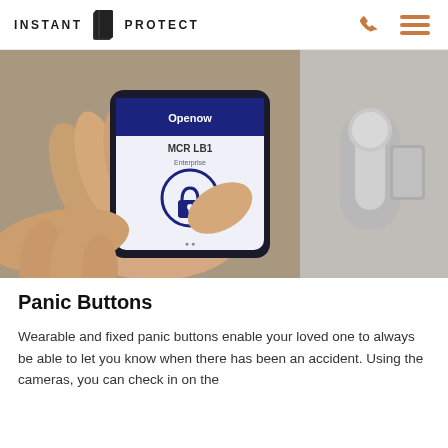INSTANT PROTECT
[Figure (photo): Person holding a smartphone with a lock/access control app (showing 'Openow' and 'MCR LB1' text and a padlock icon) near a modern door handle, suggesting smart home security access control.]
Panic Buttons
Wearable and fixed panic buttons enable your loved one to always be able to let you know when there has been an accident. Using the cameras, you can check in on the